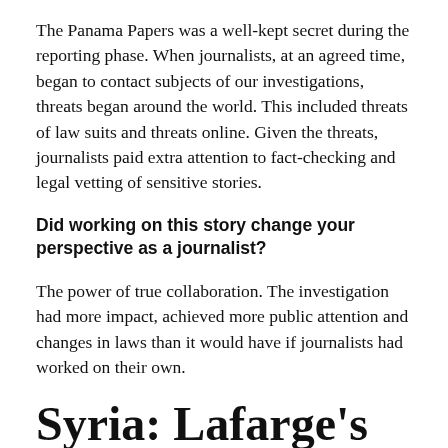The Panama Papers was a well-kept secret during the reporting phase. When journalists, at an agreed time, began to contact subjects of our investigations, threats began around the world. This included threats of law suits and threats online. Given the threats, journalists paid extra attention to fact-checking and legal vetting of sensitive stories.
Did working on this story change your perspective as a journalist?
The power of true collaboration. The investigation had more impact, achieved more public attention and changes in laws than it would have if journalists had worked on their own.
Syria: Lafarge's troubling arrangements with